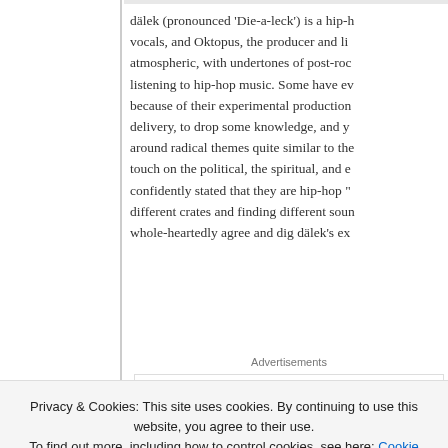dälek (pronounced 'Die-a-leck') is a hip-hop vocals, and Oktopus, the producer and li atmospheric, with undertones of post-roc listening to hip-hop music. Some have e because of their experimental production delivery, to drop some knowledge, and y around radical themes quite similar to the touch on the political, the spiritual, and e confidently stated that they are hip-hop " different crates and finding different soun whole-heartedly agree and dig dälek's ex
Advertisements
Build a wri
Privacy & Cookies: This site uses cookies. By continuing to use this website, you agree to their use.
To find out more, including how to control cookies, see here: Cookie Policy
Close and accept